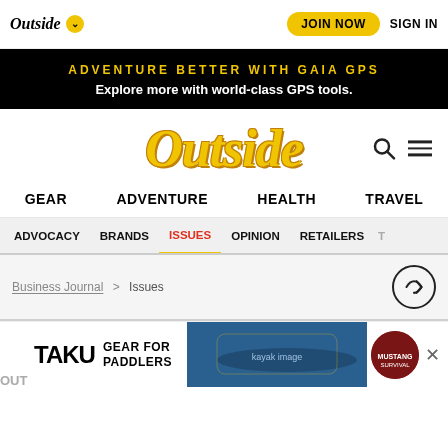Outside | JOIN NOW | SIGN IN
[Figure (infographic): Black banner advertisement: ADVENTURE BETTER WITH GAIA GPS - Explore more with world-class GPS tools.]
[Figure (logo): Outside magazine logo in large yellow italic serif font with search icon and hamburger menu]
GEAR  ADVENTURE  HEALTH  TRAVEL
ADVOCACY  BRANDS  ISSUES  OPINION  RETAILERS
Business Journal > Issues
[Figure (infographic): Advertisement banner: TAKU GEAR FOR PADDLERS with kayaking image and Mustang Survival logo]